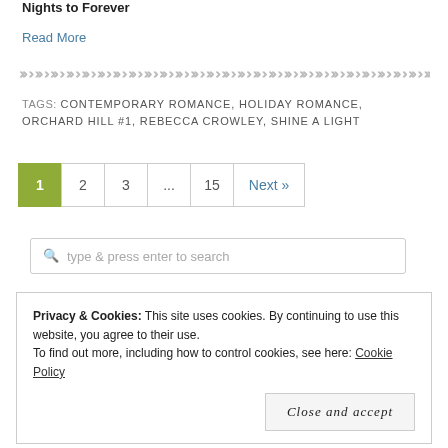Nights to Forever
Read More
[Figure (other): Decorative divider made of small arrow/chevron shapes in a repeating pattern]
TAGS: CONTEMPORARY ROMANCE, HOLIDAY ROMANCE, ORCHARD HILL #1, REBECCA CROWLEY, SHINE A LIGHT
1 2 3 ... 15 Next »
type & press enter to search
Privacy & Cookies: This site uses cookies. By continuing to use this website, you agree to their use.
To find out more, including how to control cookies, see here: Cookie Policy
Close and accept